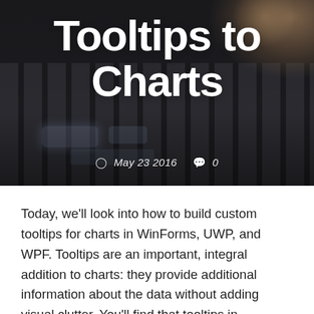[Figure (photo): Dark background image of a keyboard with a hand resting on it, overlaid with large white bold text title 'Tooltips to Charts' and meta date/comment info]
Tooltips to Charts
May 23 2016   0
Today, we'll look into how to build custom tooltips for charts in WinForms, UWP, and WPF. Tooltips are an important, integral addition to charts: they provide additional information about the data without adding visual clutter. You'll find that tooltips in FlexChart and FlexPie are easily configurable,